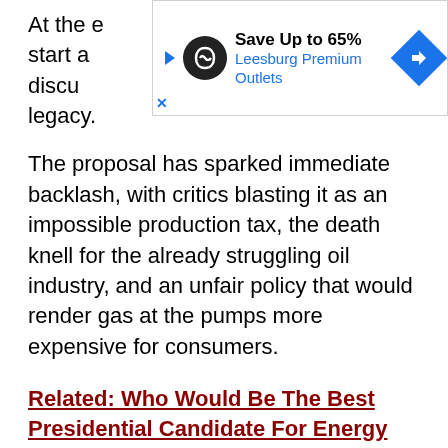At the e[ad overlay]o start a discu[ad overlay]mental legacy.
[Figure (other): Advertisement banner: Save Up to 65% Leesburg Premium Outlets]
The proposal has sparked immediate backlash, with critics blasting it as an impossible production tax, the death knell for the already struggling oil industry, and an unfair policy that would render gas at the pumps more expensive for consumers.
Related: Who Would Be The Best Presidential Candidate For Energy Companies?
Oil tycoon T. Boone Pickens has sensationally dubbed the Obama proposal “the dumbest idea ever.”
The $32 billion tax per year would be consistent with a production tax, tweeted Ed Crooks, the energy editor of The Financial Times.